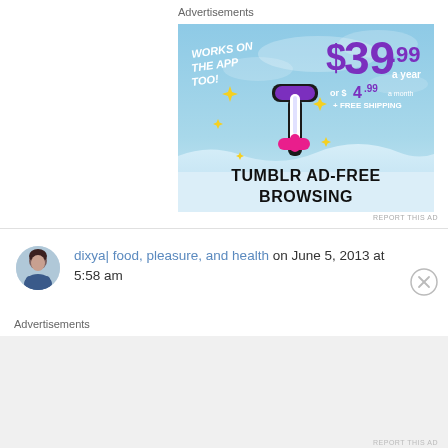Advertisements
[Figure (screenshot): Tumblr ad for ad-free browsing subscription. Sky blue background with Tumblr 't' logo, sparkle stars, text: 'WORKS ON THE APP TOO!' in white bold, '$39.99 a year or $4.99 a month + FREE SHIPPING' in purple/white, 'TUMBLR AD-FREE BROWSING' in black bold on white wave at bottom.]
REPORT THIS AD
dixya| food, pleasure, and health on June 5, 2013 at 5:58 am
Advertisements